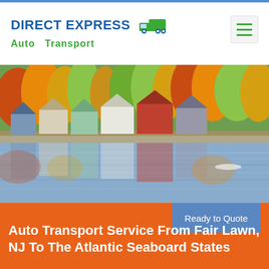[Figure (logo): Direct Express Auto Transport logo with truck icon, blue and green text]
[Figure (photo): Colorful New England lakeside houses with autumn foliage reflecting on calm water]
Ready to Quote
Auto Transport Service From Fair Lawn, NJ To The Atlantic Seaboard States